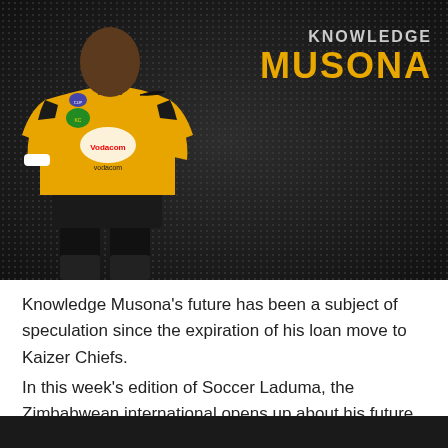[Figure (photo): Knowledge Musona in a yellow Kaizer Chiefs jersey with Vodacom sponsor logo, standing with hands on hips against a dark dotted background. Name overlay in top right: 'KNOWLEDGE MUSONA' in gold/yellow and grey text.]
Knowledge Musona's future has been a subject of speculation since the expiration of his loan move to Kaizer Chiefs.
In this week's edition of Soccer Laduma, the Zimbabwean international opens up about his future plans. He also reveals why he won't be considering